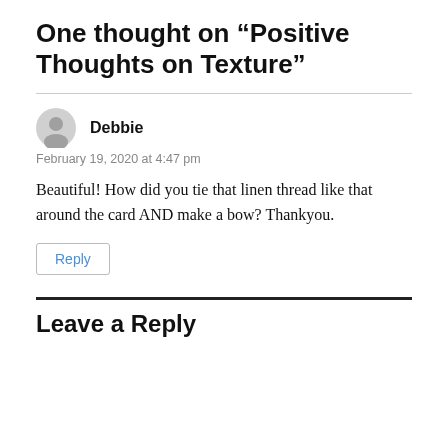One thought on “Positive Thoughts on Texture”
Debbie
February 19, 2020 at 4:47 pm
Beautiful! How did you tie that linen thread like that around the card AND make a bow? Thankyou.
Reply
Leave a Reply